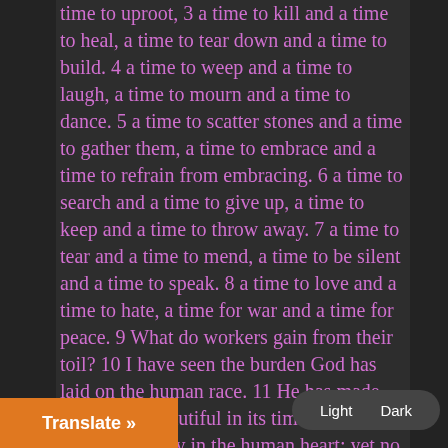time to uproot, 3 a time to kill and a time to heal, a time to tear down and a time to build. 4 a time to weep and a time to laugh, a time to mourn and a time to dance. 5 a time to scatter stones and a time to gather them, a time to embrace and a time to refrain from embracing. 6 a time to search and a time to give up, a time to keep and a time to throw away. 7 a time to tear and a time to mend, a time to be silent and a time to speak. 8 a time to love and a time to hate, a time for war and a time for peace. 9 What do workers gain from their toil? 10 I have seen the burden God has laid on the human race. 11 He has made everything beautiful in its time. He has also set eternity in the human heart; yet no one can fathom what God has done from beginning to end. 12 I know that there is nothing better for people than to be do good while they live. 13 That